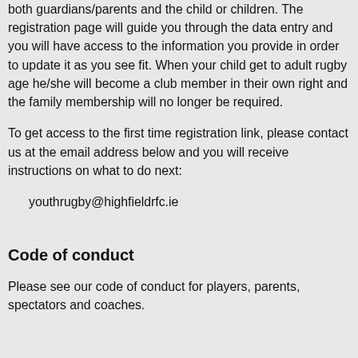both guardians/parents and the child or children. The registration page will guide you through the data entry and you will have access to the information you provide in order to update it as you see fit. When your child get to adult rugby age he/she will become a club member in their own right and the family membership will no longer be required.
To get access to the first time registration link, please contact us at the email address below and you will receive instructions on what to do next:
youthrugby@highfieldrfc.ie
Code of conduct
Please see our code of conduct for players, parents, spectators and coaches.